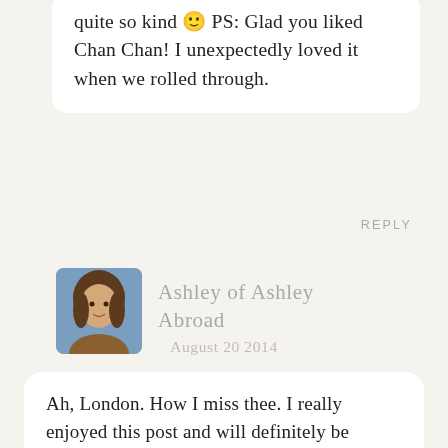quite so kind 🙂 PS: Glad you liked Chan Chan! I unexpectedly loved it when we rolled through.
REPLY
[Figure (photo): Profile photo of Ashley, a woman with brown hair against a blue sky background]
Ashley of Ashley Abroad
August 20 2014
Ah, London. How I miss thee. I really enjoyed this post and will definitely be bookmarking it for future London visits!
REPLY
[Figure (photo): Profile photo of Alex, a woman with blonde hair]
Alex